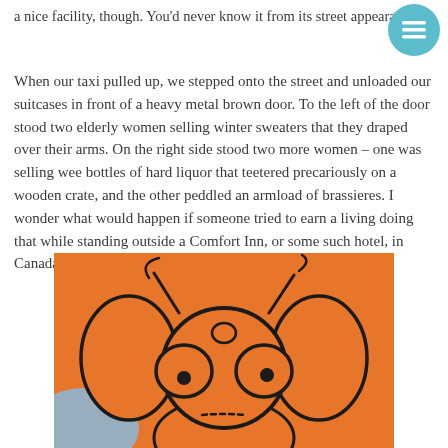a nice facility, though. You’d never know it from its street appearance.
[Figure (illustration): Cartoon illustration of a fly-like character with big round eyes and antennae on an orange background with a hint of blue in the lower left corner.]
When our taxi pulled up, we stepped onto the street and unloaded our suitcases in front of a heavy metal brown door. To the left of the door stood two elderly women selling winter sweaters that they draped over their arms. On the right side stood two more women – one was selling wee bottles of hard liquor that teetered precariously on a wooden crate, and the other peddled an armload of brassieres. I wonder what would happen if someone tried to earn a living doing that while standing outside a Comfort Inn, or some such hotel, in Canada?